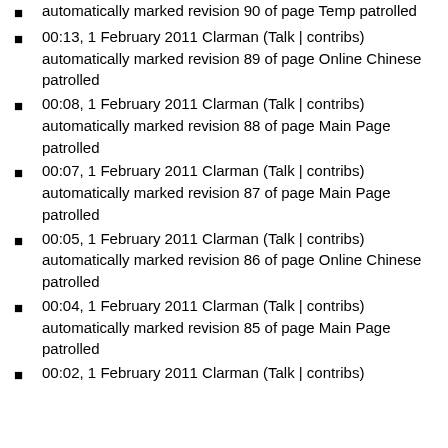automatically marked revision 90 of page Temp patrolled
00:13, 1 February 2011 Clarman (Talk | contribs) automatically marked revision 89 of page Online Chinese patrolled
00:08, 1 February 2011 Clarman (Talk | contribs) automatically marked revision 88 of page Main Page patrolled
00:07, 1 February 2011 Clarman (Talk | contribs) automatically marked revision 87 of page Main Page patrolled
00:05, 1 February 2011 Clarman (Talk | contribs) automatically marked revision 86 of page Online Chinese patrolled
00:04, 1 February 2011 Clarman (Talk | contribs) automatically marked revision 85 of page Main Page patrolled
00:02, 1 February 2011 Clarman (Talk | contribs)